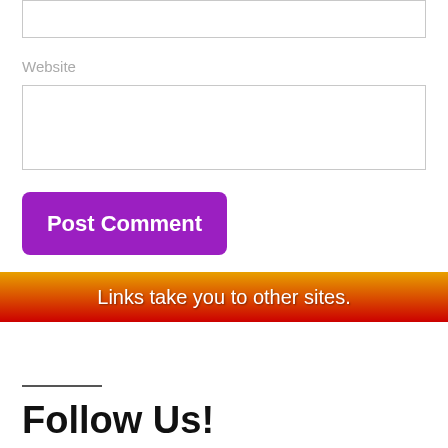[Figure (screenshot): Top input box (truncated at top of page)]
Website
[Figure (screenshot): Website input text field]
Post Comment
Links take you to other sites.
Follow Us!